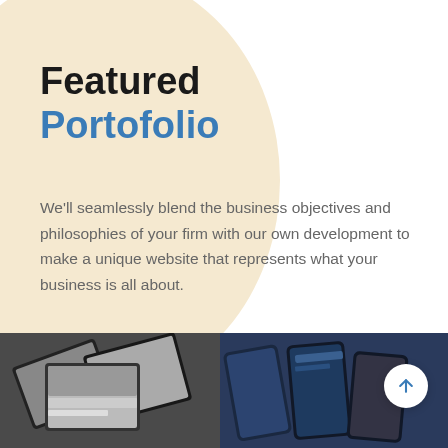Featured Portofolio
We'll seamlessly blend the business objectives and philosophies of your firm with our own development to make a unique website that represents what your business is all about.
Explore Portfolio →
[Figure (photo): Two tablet devices showing website portfolio layouts with fashion/lifestyle imagery, on a dark background]
[Figure (photo): Smartphone and device mockups showing a dark-themed website, on a navy blue background, with a circular scroll-up arrow button overlay]